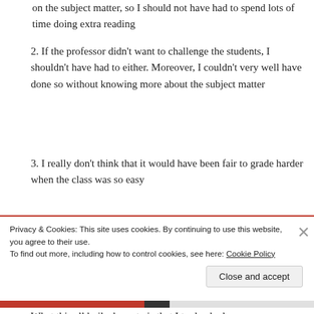on the subject matter, so I should not have had to spend lots of time doing extra reading
2. If the professor didn't want to challenge the students, I shouldn't have had to either. Moreover, I couldn't very well have done so without knowing more about the subject matter
3. I really don't think that it would have been fair to grade harder when the class was so easy
4. Why should I have invented silly exercises to keep the students in section longer, when I really didn't have anything else to say to them?
What this all boils down to is that I took a bad
Privacy & Cookies: This site uses cookies. By continuing to use this website, you agree to their use.
To find out more, including how to control cookies, see here: Cookie Policy
Close and accept